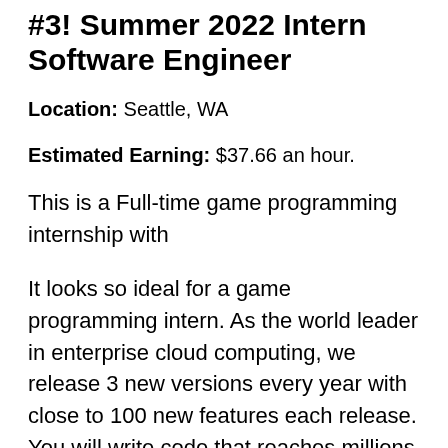#3! Summer 2022 Intern Software Engineer
Location: Seattle, WA
Estimated Earning: $37.66 an hour.
This is a Full-time game programming internship with
It looks so ideal for a game programming intern. As the world leader in enterprise cloud computing, we release 3 new versions every year with close to 100 new features each release. You will write code that reaches millions of subscribers who use a number of